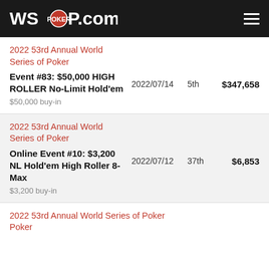WSOP.com
2022 53rd Annual World Series of Poker
Event #83: $50,000 HIGH ROLLER No-Limit Hold'em
$50,000 buy-in
2022/07/14
5th
$347,658
2022 53rd Annual World Series of Poker
Online Event #10: $3,200 NL Hold'em High Roller 8-Max
$3,200 buy-in
2022/07/12
37th
$6,853
2022 53rd Annual World Series of Poker
Poker